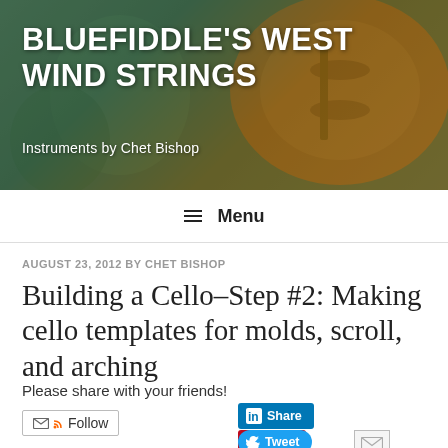[Figure (photo): Website banner header showing violin/cello instruments and foliage background with site title text overlay]
BLUEFIDDLE'S WEST WIND STRINGS
Instruments by Chet Bishop
≡ Menu
AUGUST 23, 2012 BY CHET BISHOP
Building a Cello–Step #2: Making cello templates for molds, scroll, and arching
Please share with your friends!